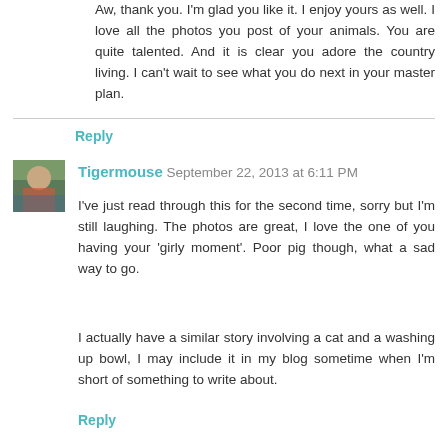Aw, thank you. I'm glad you like it. I enjoy yours as well. I love all the photos you post of your animals. You are quite talented. And it is clear you adore the country living. I can't wait to see what you do next in your master plan.
Reply
Tigermouse  September 22, 2013 at 6:11 PM
I've just read through this for the second time, sorry but I'm still laughing. The photos are great, I love the one of you having your 'girly moment'. Poor pig though, what a sad way to go.

I actually have a similar story involving a cat and a washing up bowl, I may include it in my blog sometime when I'm short of something to write about.
Reply